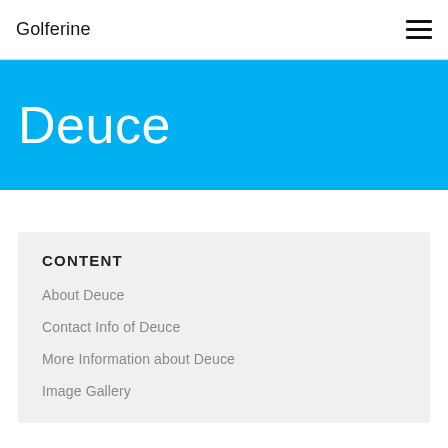Golferine
Deuce
CONTENT
About Deuce
Contact Info of Deuce
More Information about Deuce
Image Gallery